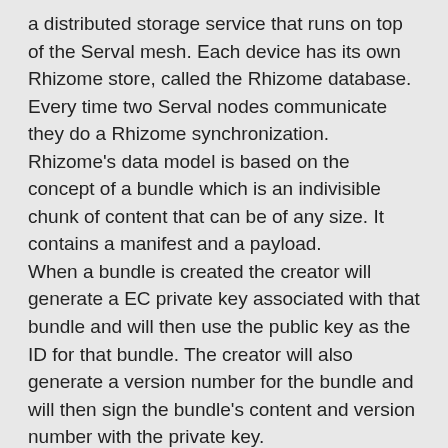a distributed storage service that runs on top of the Serval mesh. Each device has its own Rhizome store, called the Rhizome database. Every time two Serval nodes communicate they do a Rhizome synchronization.
Rhizome's data model is based on the concept of a bundle which is an indivisible chunk of content that can be of any size. It contains a manifest and a payload.
When a bundle is created the creator will generate a EC private key associated with that bundle and will then use the public key as the ID for that bundle. The creator will also generate a version number for the bundle and will then sign the bundle's content and version number with the private key.
When two devices synchronize they look to see what bundle IDs the other has that they do not and when